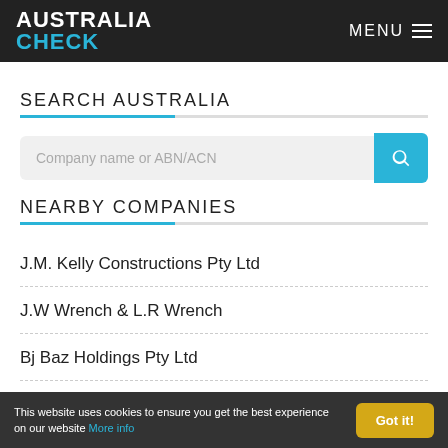AUSTRALIA CHECK | MENU
SEARCH AUSTRALIA
Company name or ABN/ACN
NEARBY COMPANIES
J.M. Kelly Constructions Pty Ltd
J.W Wrench & L.R Wrench
Bj Baz Holdings Pty Ltd
This website uses cookies to ensure you get the best experience on our website More info Got it!